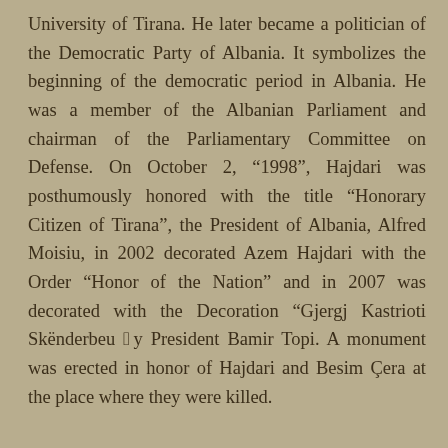University of Tirana. He later became a politician of the Democratic Party of Albania. It symbolizes the beginning of the democratic period in Albania. He was a member of the Albanian Parliament and chairman of the Parliamentary Committee on Defense. On October 2, “1998”, Hajdari was posthumously honored with the title “Honorary Citizen of Tirana”, the President of Albania, Alfred Moisiu, in 2002 decorated Azem Hajdari with the Order “Honor of the Nation” and in 2007 was decorated with the Decoration “Gjergj Kastrioti Skënderbeu “by President Bamir Topi. A monument was erected in honor of Hajdari and Besim Çera at the place where they were killed.